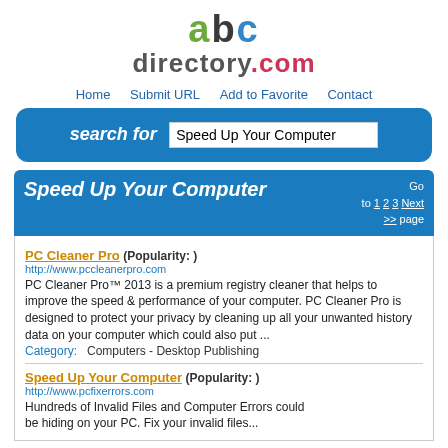[Figure (logo): abcdirectory.com logo with colorful letters]
Home  Submit URL  Add to Favorite  Contact
search for  Speed Up Your Computer
Speed Up Your Computer  Go to 1 2 3 Next >> page
PC Cleaner Pro (Popularity: ) http://www.pccleanerpro.com PC Cleaner Pro™ 2013 is a premium registry cleaner that helps to improve the speed & performance of your computer. PC Cleaner Pro is designed to protect your privacy by cleaning up all your unwanted history data on your computer which could also put ... Category:   Computers - Desktop Publishing
Speed Up Your Computer (Popularity: ) http://www.pcfixerrors.com Hundreds of Invalid Files and Computer Errors could be hiding on your PC. Fix your invalid files...